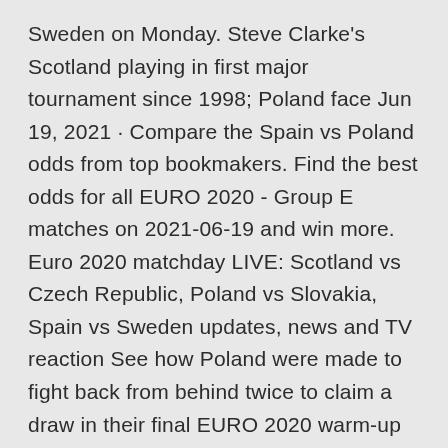Sweden on Monday. Steve Clarke's Scotland playing in first major tournament since 1998; Poland face Jun 19, 2021 · Compare the Spain vs Poland odds from top bookmakers. Find the best odds for all EURO 2020 - Group E matches on 2021-06-19 and win more. Euro 2020 matchday LIVE: Scotland vs Czech Republic, Poland vs Slovakia, Spain vs Sweden updates, news and TV reaction See how Poland were made to fight back from behind twice to claim a draw in their final EURO 2020 warm-up game in Poznan. Live EURO 2020 inside track: Poland Spain vs Poland facts. with us at the best euro 2020 screening experience in london. EURO 2020: SPAIN VS POLAND Tickets, Sat at 19:00 | Eventbrite Eventbrite, and certain approved third parties, use functional, analytical and tracking cookies (or similar technologies) to understand your event